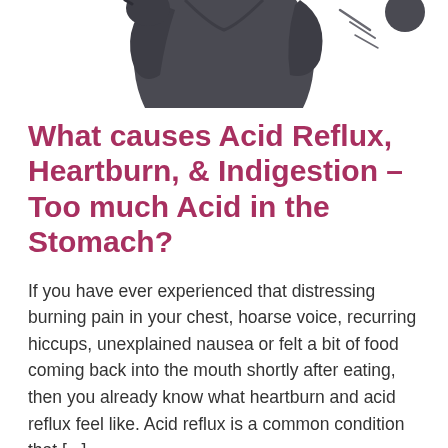[Figure (illustration): Partial illustration of a person/character in dark grey/black clothing, showing upper torso and arm, suggesting discomfort or acid reflux context.]
What causes Acid Reflux, Heartburn, & Indigestion – Too much Acid in the Stomach?
If you have ever experienced that distressing burning pain in your chest, hoarse voice, recurring hiccups, unexplained nausea or felt a bit of food coming back into the mouth shortly after eating, then you already know what heartburn and acid reflux feel like. Acid reflux is a common condition that [ . ]